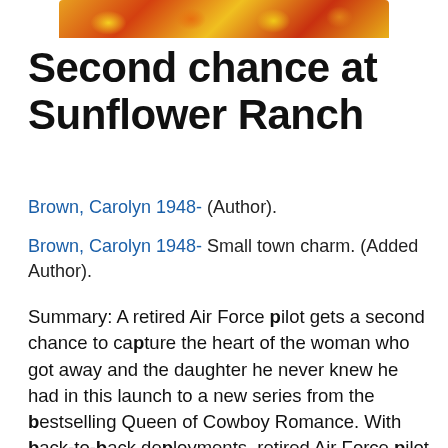[Figure (photo): Partial view of a book cover showing sunflowers and warm autumn colors]
Second chance at Sunflower Ranch
Brown, Carolyn 1948- (Author).
Brown, Carolyn 1948- Small town charm. (Added Author).
Summary: A retired Air Force pilot gets a second chance to capture the heart of the woman who got away and the daughter he never knew he had in this launch to a new series from the bestselling Queen of Cowboy Romance. With back-to-back deployments, retired Air Force pilot Jesse Ryan hasn't been home much since he enlisted twenty years ago. Now he's headed back to Honey Grove, Texas to help take care of his aging foster parents